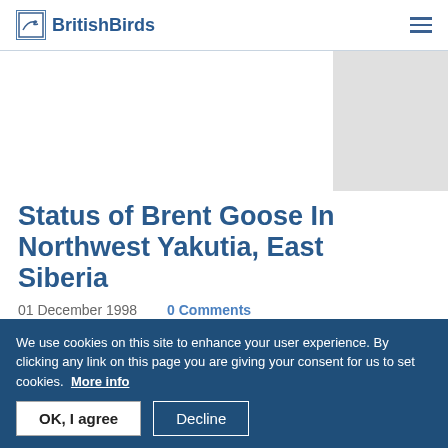BritishBirds
[Figure (photo): Placeholder image area in top right corner]
Status of Brent Goose In Northwest Yakutia, East Siberia
01 December 1998   0 Comments
Main paper
ABSTRACT During June-July 1997, five colonies of Brent Geese Branta bernicla were visited in northwest Yakutia, East Siberia:
We use cookies on this site to enhance your user experience. By clicking any link on this page you are giving your consent for us to set cookies. More info
OK, I agree   Decline